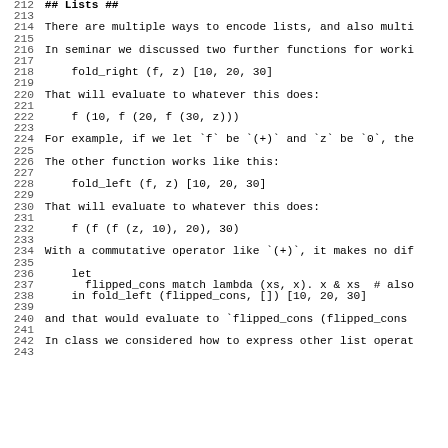212 ## Lists ##
213
214 There are multiple ways to encode lists, and also multi
215
216 In seminar we discussed two further functions for worki
217
218     fold_right (f, z) [10, 20, 30]
219
220 That will evaluate to whatever this does:
221
222     f (10, f (20, f (30, z)))
223
224 For example, if we let `f` be `(+)` and `z` be `0`, the
225
226 The other function works like this:
227
228     fold_left (f, z) [10, 20, 30]
229
230 That will evaluate to whatever this does:
231
232     f (f (f (z, 10), 20), 30)
233
234 With a commutative operator like `(+)`, it makes no dif
235
236     let
237       flipped_cons match lambda (xs, x). x & xs  # also
238     in fold_left (flipped_cons, []) [10, 20, 30]
239
240 and that would evaluate to `flipped_cons (flipped_cons
241
242 In class we considered how to express other list operat
243